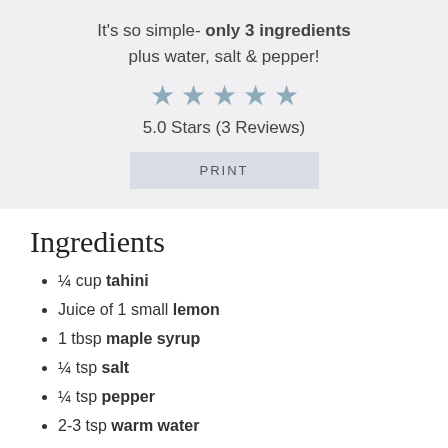It's so simple- only 3 ingredients plus water, salt & pepper!
[Figure (other): Five steel-blue star rating icons]
5.0 Stars (3 Reviews)
PRINT
Ingredients
¼ cup tahini
Juice of 1 small lemon
1 tbsp maple syrup
¼ tsp salt
¼ tsp pepper
2-3 tsp warm water
Hands Free Mode: